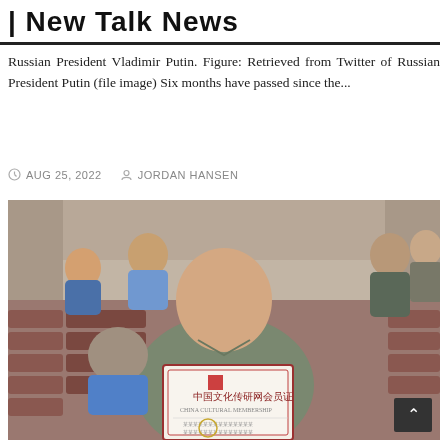New Talk News
Russian President Vladimir Putin. Figure: Retrieved from Twitter of Russian President Putin (file image) Six months have passed since the...
AUG 25, 2022   JORDAN HANSEN
[Figure (photo): A man holding a Chinese cultural exchange membership certificate in what appears to be a conference hall with red seats. Other people are visible in the background.]